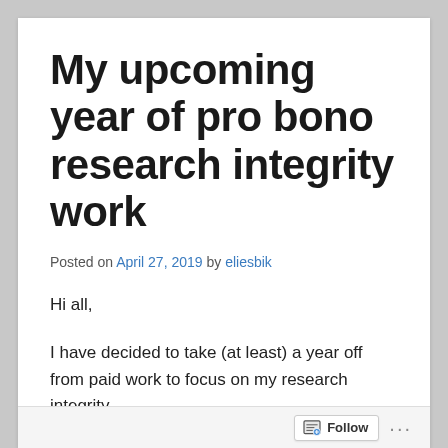My upcoming year of pro bono research integrity work
Posted on April 27, 2019 by eliesbik
Hi all,
I have decided to take (at least) a year off from paid work to focus on my research integrity